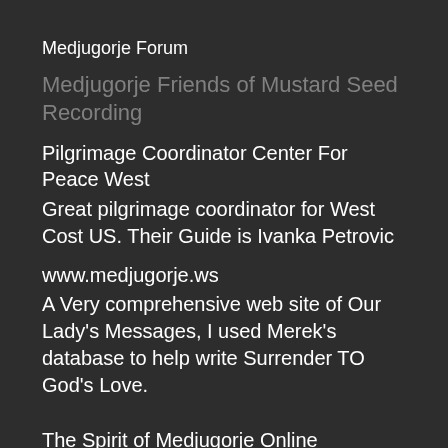Medjugorje Forum
Medjugorje Friends of Mustard Seed Recording
Pilgrimage Coordinator Center For Peace West
Great pilgrimage coordinator for West Cost US. Their Guide is Ivanka Petrovic
www.medjugorje.ws
A Very comprehensive web site of Our Lady's Messages, I used Merek's database to help write Surrender TO God's Love.
The Spirit of Medjugorje Online